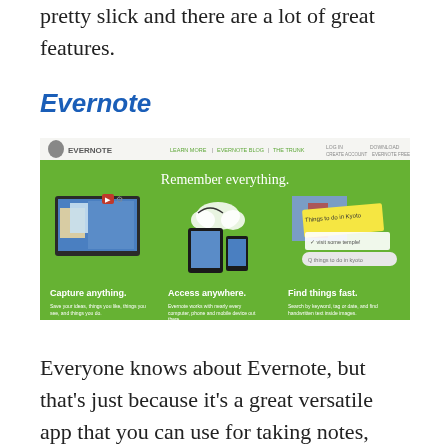pretty slick and there are a lot of great features.
Evernote
[Figure (screenshot): Screenshot of the Evernote website homepage showing a green banner with the tagline 'Remember everything.' and three sections: 'Capture anything.', 'Access anywhere.', and 'Find things fast.' The top navigation bar shows the Evernote logo and menu links.]
Everyone knows about Evernote, but that's just because it's a great versatile app that you can use for taking notes, writing up to do lists